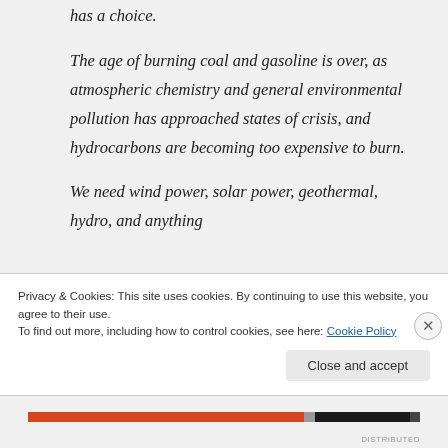has a choice.
The age of burning coal and gasoline is over, as atmospheric chemistry and general environmental pollution has approached states of crisis, and hydrocarbons are becoming too expensive to burn.
We need wind power, solar power, geothermal, hydro, and anything
Privacy & Cookies: This site uses cookies. By continuing to use this website, you agree to their use.
To find out more, including how to control cookies, see here: Cookie Policy
Close and accept